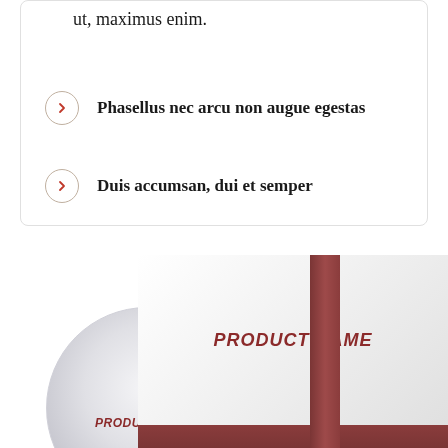ut, maximus enim.
Phasellus nec arcu non augue egestas
Duis accumsan, dui et semper
[Figure (illustration): A CD/disc and a book/box product mockup. The disc is circular with a silver gradient and shows 'PRODUCT NAME' in italic bold dark red text. The book/box has a dark red spine on the left and a white-to-grey gradient cover face showing 'PRODUCT NAME' in italic bold dark red text, with a dark red band at the bottom.]